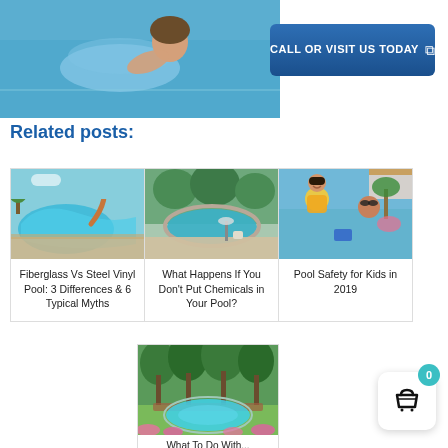[Figure (photo): Banner with woman floating in pool on left, and a blue 'CALL OR VISIT US TODAY' CTA button on right]
Related posts:
[Figure (photo): Fiberglass pool with water slide and teal water]
Fiberglass Vs Steel Vinyl Pool: 3 Differences & 6 Typical Myths
[Figure (photo): Pool with stone surround and pool cleaning equipment]
What Happens If You Don't Put Chemicals in Your Pool?
[Figure (photo): Child in life jacket with adult near pool]
Pool Safety for Kids in 2019
[Figure (photo): Oval pool surrounded by lush green trees and pink flowers]
What To Do With...